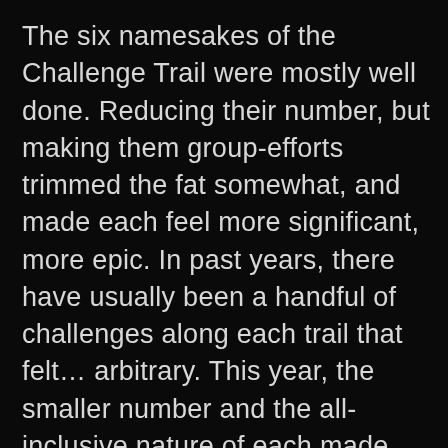The six namesakes of the Challenge Trail were mostly well done. Reducing their number, but making them group-efforts trimmed the fat somewhat, and made each feel more significant, more epic. In past years, there have usually been a handful of challenges along each trail that felt… arbitrary. This year, the smaller number and the all-inclusive nature of each made the successes feel legitimately exultant and our sole failure… devastating. The Wind Witch's trial was certainly the weakest of the bunch, but, still, remained enjoyable. Again, the group-